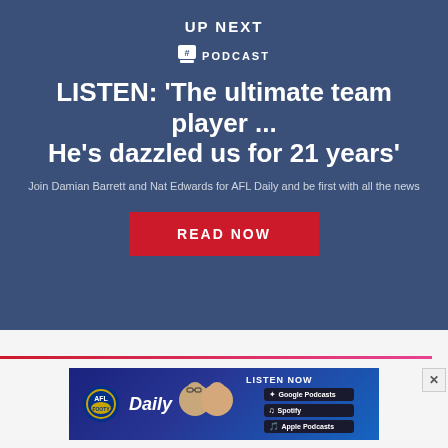UP NEXT
# PODCAST
LISTEN: 'The ultimate team player ... He's dazzled us for 21 years'
Join Damian Barrett and Nat Edwards for AFL Daily and be first with all the news
READ NOW
[Figure (screenshot): AFL Daily podcast advertisement banner with two hosts, AFL logo, and podcast badges for Google Podcasts, Spotify, and Apple Podcasts]